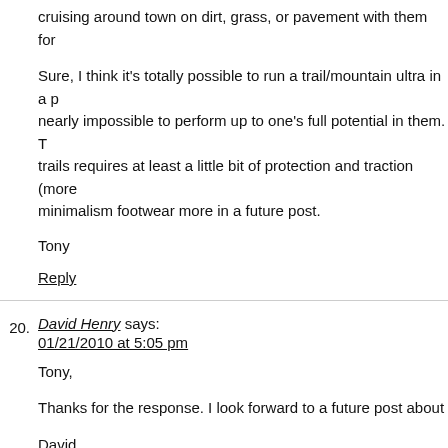cruising around town on dirt, grass, or pavement with them for
Sure, I think it's totally possible to run a trail/mountain ultra in a p nearly impossible to perform up to one's full potential in them. T trails requires at least a little bit of protection and traction (more minimalism footwear more in a future post.
Tony
Reply
20. David Henry says: 01/21/2010 at 5:05 pm
Tony,
Thanks for the response. I look forward to a future post about
David
Reply
21. Frank Bott Running Log says: 01/21/2010 at 6:50 pm